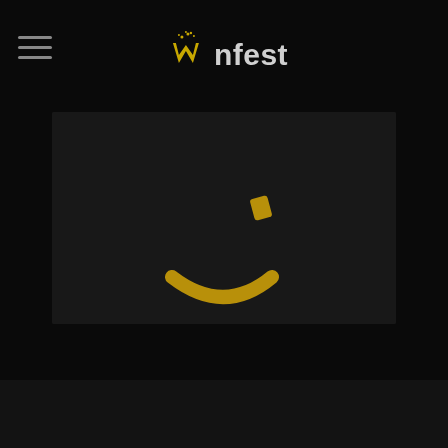Winfest
[Figure (logo): Winfest casino website screenshot showing the Winfest logo at top with a golden W crown icon and the text 'nfest' in white/grey. Below is a dark loading screen with a partial golden smiley face (one eye and a smile arc) visible against a very dark background.]